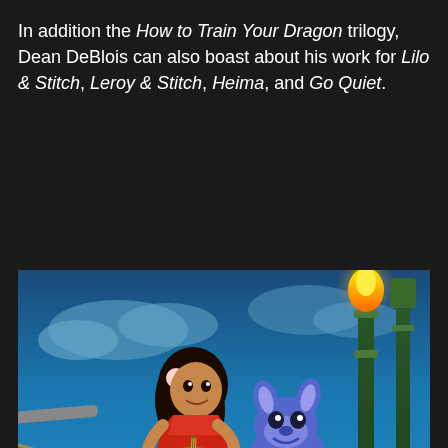In addition the How to Train Your Dragon trilogy, Dean DeBlois can also boast about his work for Lilo & Stitch, Leroy & Stitch, Heima, and Go Quiet.
[Figure (illustration): Animated still from Lilo & Stitch showing Lilo playing a ukulele while sitting in a red hammock with Stitch beside her. Background shows a blue tropical evening sky with tiki torches and a body of water.]